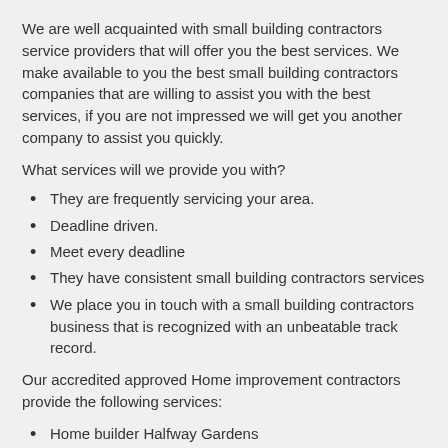We are well acquainted with small building contractors service providers that will offer you the best services. We make available to you the best small building contractors companies that are willing to assist you with the best services, if you are not impressed we will get you another company to assist you quickly.
What services will we provide you with?
They are frequently servicing your area.
Deadline driven.
Meet every deadline
They have consistent small building contractors services
We place you in touch with a small building contractors business that is recognized with an unbeatable track record.
Our accredited approved Home improvement contractors provide the following services:
Home builder Halfway Gardens
Building services Halfway Gardens
Renovation contractors Halfway Gardens
General construction companies Halfway Gardens
Home builders Halfway Gardens
Construction company Halfway Gardens
Residential construction companies Halfway Gardens
Top construction companies Halfway Gardens
House builders Halfway Gardens